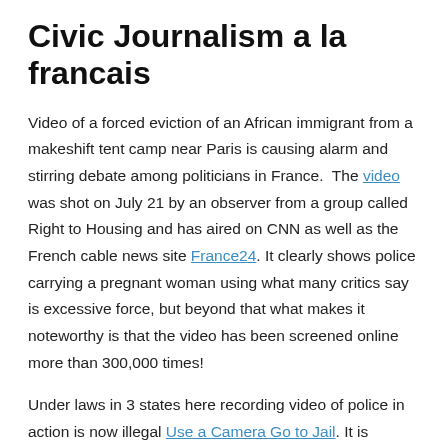Civic Journalism a la francais
Video of a forced eviction of an African immigrant from a makeshift tent camp near Paris is causing alarm and stirring debate among politicians in France. The video was shot on July 21 by an observer from a group called Right to Housing and has aired on CNN as well as the French cable news site France24. It clearly shows police carrying a pregnant woman using what many critics say is excessive force, but beyond that what makes it noteworthy is that the video has been screened online more than 300,000 times!
Under laws in 3 states here recording video of police in action is now illegal Use a Camera Go to Jail. It is interesting to note that state of alarm generated by